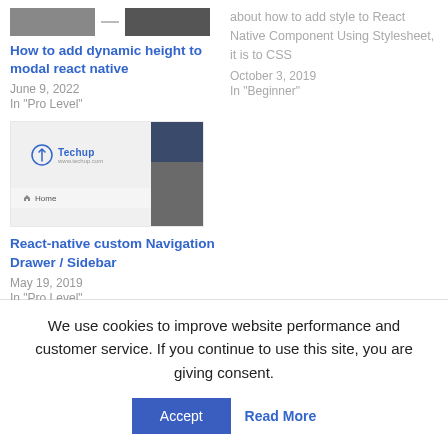[Figure (screenshot): Thumbnail image for 'How to add dynamic height to modal react native' blog post showing two small screenshots side by side]
How to add dynamic height to modal react native
June 9, 2022
In "Pro Level"
about how to add style to React Native Component Using Stylesheet, it is to CSS
October 3, 2019
In "Beginner"
[Figure (screenshot): Thumbnail image for 'React-native custom Navigation Drawer / Sidebar' blog post showing Techup logo and a dark navigation drawer graphic]
React-native custom Navigation Drawer / Sidebar
May 19, 2019
In "Pro Level"
We use cookies to improve website performance and customer service. If you continue to use this site, you are giving consent.